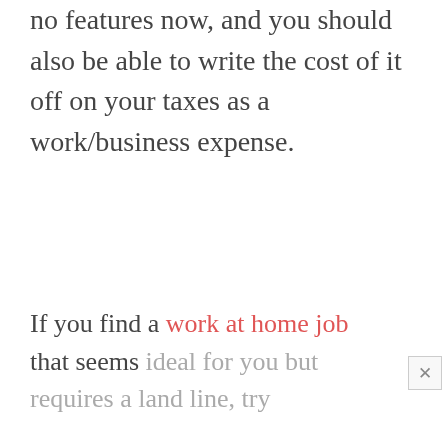no features now, and you should also be able to write the cost of it off on your taxes as a work/business expense.
If you find a work at home job that seems ideal for you but requires a land line, try